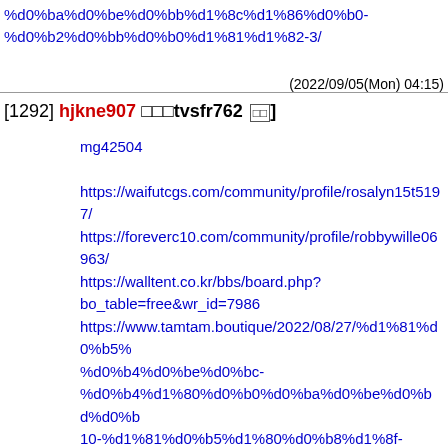%d0%ba%d0%be%d0%bb%d1%8c%d1%86%d0%b0-%d0%b2%d0%bb%d0%b0%d1%81%d1%82-3/
(2022/09/05(Mon) 04:15)
[1292] hjkne907 □□□tvsfr762 [□□]
mg42504

https://waifutcgs.com/community/profile/rosalyn15t5197/
https://foreverc10.com/community/profile/robbywille06963/
https://walltent.co.kr/bbs/board.php?bo_table=free&wr_id=7986
https://www.tamtam.boutique/2022/08/27/%d1%81%d0%b5%d0%b4%d0%be%d0%bc-%d0%b4%d1%80%d0%b0%d0%ba%d0%be%d0%bd%d0%b010-%d1%81%d0%b5%d1%80%d0%b8%d1%8f-%d1%81%d0%bc%d0%be%d1%82%d1%80%d0%b5%d1%85%d0%be%d0%bd/
https://forum.lah.ru/community/profile/rebekahmusselma/
https://www.naijagobeta.com/community/profile/sylviaklein07
https://engineeringroundtable.com/%d0%b4%d0%be%d0%bc